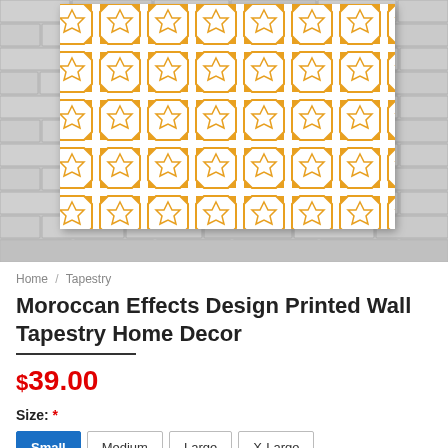[Figure (photo): Product photo of a golden/amber Moroccan geometric pattern printed tapestry hung on a white brick wall]
Home / Tapestry
Moroccan Effects Design Printed Wall Tapestry Home Decor
$39.00
Size: *
Small  Medium  Large  X-Large